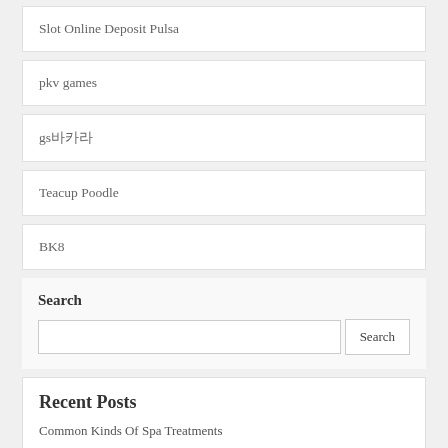Slot Online Deposit Pulsa
pkv games
gs바카라
Teacup Poodle
BK8
Search
Recent Posts
Common Kinds Of Spa Treatments
Buying Women's Boots Online – Tips
Ten Online Slot Machine Tips
75 Ball Bingo Rules And The Right Way To Play Guide